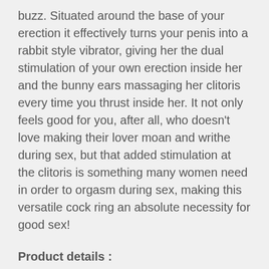buzz. Situated around the base of your erection it effectively turns your penis into a rabbit style vibrator, giving her the dual stimulation of your own erection inside her and the bunny ears massaging her clitoris every time you thrust inside her. It not only feels good for you, after all, who doesn't love making their lover moan and writhe during sex, but that added stimulation at the clitoris is something many women need in order to orgasm during sex, making this versatile cock ring an absolute necessity for good sex!
Product details :
Material:Jelly, Rubber, Phthalates Free
Colours:Red
Texture:Smooth